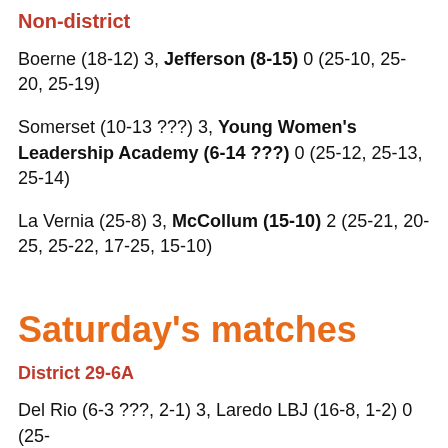Non-district
Boerne (18-12) 3, Jefferson (8-15) 0 (25-10, 25-20, 25-19)
Somerset (10-13 ???) 3, Young Women's Leadership Academy (6-14 ???) 0 (25-12, 25-13, 25-14)
La Vernia (25-8) 3, McCollum (15-10) 2 (25-21, 20-25, 25-22, 17-25, 15-10)
Saturday's matches
District 29-6A
Del Rio (6-3 ???, 2-1) 3, Laredo LBJ (16-8, 1-2) 0  (25-